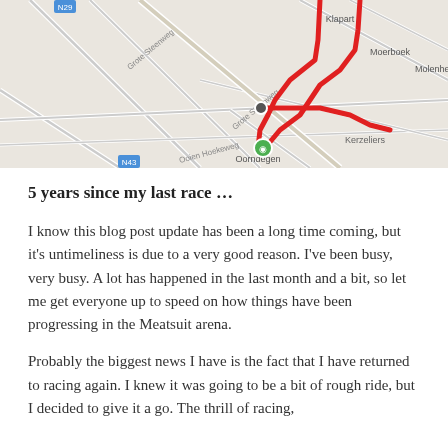[Figure (map): A road map showing a route traced in red lines through a rural area. A green marker is visible near Oorndegen/Ovrdegen. Place names visible include Klapart, Moerboek, Molenheck, Smetenbo, Oorndegen. Several roads and route numbers are shown (N29, N43, N45). The red route forms an angular path through the map.]
5 years since my last race …
I know this blog post update has been a long time coming, but it's untimeliness is due to a very good reason. I've been busy, very busy. A lot has happened in the last month and a bit, so let me get everyone up to speed on how things have been progressing in the Meatsuit arena.
Probably the biggest news I have is the fact that I have returned to racing again. I knew it was going to be a bit of rough ride, but I decided to give it a go. The thrill of racing,